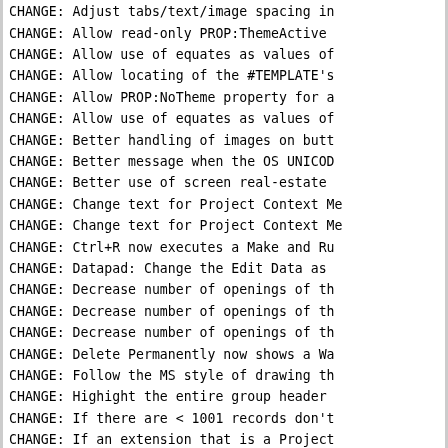CHANGE: Adjust tabs/text/image spacing in
CHANGE: Allow read-only PROP:ThemeActive
CHANGE: Allow use of equates as values of
CHANGE: Allow locating of the #TEMPLATE's
CHANGE: Allow PROP:NoTheme property for a
CHANGE: Allow use of equates as values of
CHANGE: Better handling of images on butt
CHANGE: Better message when the OS UNICOD
CHANGE: Better use of screen real-estate
CHANGE: Change text for Project Context Me
CHANGE: Change text for Project Context Me
CHANGE: Ctrl+R now executes a Make and Ru
CHANGE: Datapad: Change the Edit Data as
CHANGE: Decrease number of openings of th
CHANGE: Decrease number of openings of th
CHANGE: Decrease number of openings of th
CHANGE: Delete Permanently now shows a Wa
CHANGE: Follow the MS style of drawing th
CHANGE: Highight the entire group header
CHANGE: If there are < 1001 records don't
CHANGE: If an extension that is a Project